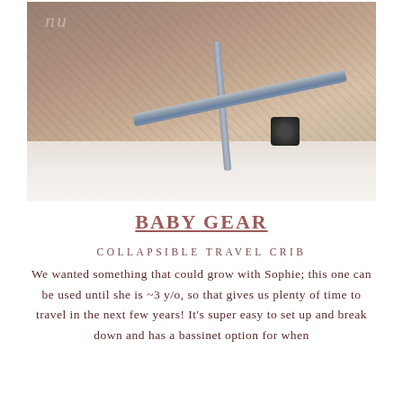[Figure (photo): Close-up photo of a collapsible travel crib showing taupe/beige fabric mesh and silver/grey metal frame bars with a dark wheel/connector piece, on a light floor background. A faint logo is visible in the top-left corner of the fabric.]
BABY GEAR
COLLAPSIBLE TRAVEL CRIB
We wanted something that could grow with Sophie; this one can be used until she is ~3 y/o, so that gives us plenty of time to travel in the next few years! It's super easy to set up and break down and has a bassinet option for when